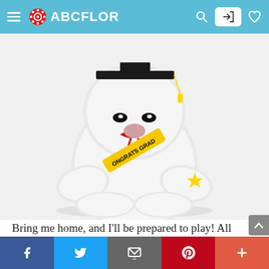ABCFLOR
[Figure (photo): White plush stuffed animal (dog/puppy) wearing a black graduation cap and a yellow 'CONGRATS GRAD' sash with a red ribbon, and a yellow star accent. The toy is sitting with large fluffy paws visible.]
Bring me home, and I'll be prepared to play! All Cuddle Barn animated plush comes with batteries previously mounted, that your little one can appreciate all the excitement and
f  Twitter  Email  p  +